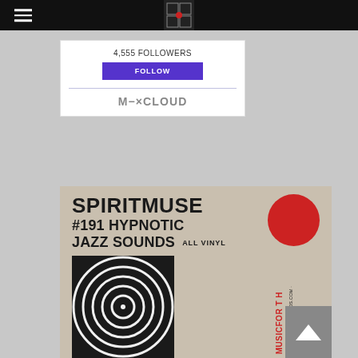4,555 FOLLOWERS
FOLLOW
[Figure (logo): Mixcloud logo text: M-XCLOUD]
[Figure (illustration): Album cover for SPIRITMUSE #191 HYPNOTIC JAZZ SOUNDS ALL VINYL with red circle and spiral vinyl graphic, spiritmuserecords.com]